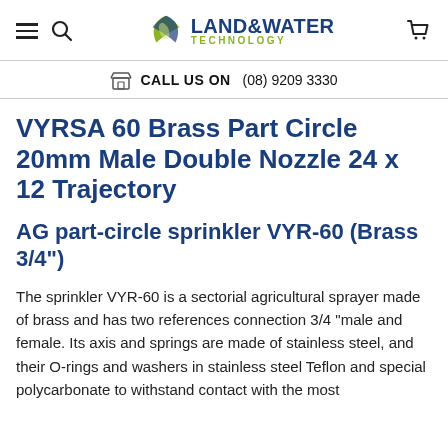Land & Water Technology — CALL US ON (08) 9209 3330
VYRSA 60 Brass Part Circle 20mm Male Double Nozzle 24 x 12 Trajectory
AG part-circle sprinkler VYR-60 (Brass 3/4")
The sprinkler VYR-60 is a sectorial agricultural sprayer made of brass and has two references connection 3/4 "male and female. Its axis and springs are made of stainless steel, and their O-rings and washers in stainless steel Teflon and special polycarbonate to withstand contact with the most